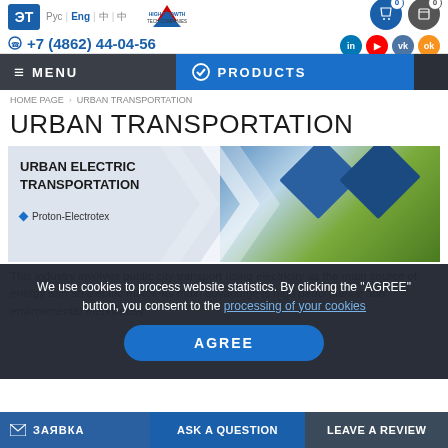Рус | Eng | [icons] | +7 (4862) 44-04-56
MENU | PRODUCTS
HOME PAGE > URBAN TRANSPORTATION
URBAN TRANSPORTATION
[Figure (photo): Urban electric transportation product card with image of a blue tram on city street. Text: URBAN ELECTRIC TRANSPORTATION, Proton-Electrotex]
This industry involves public city transport using electricity as the main source of energy and an electric motor. Its main advantage is high performance and environmental friendliness.
We use cookies to process website statistics. By clicking the "AGREE" button, you consent to the processing of your cookies
ЗАЯВКА | ASK A QUESTION | LEAVE A REVIEW